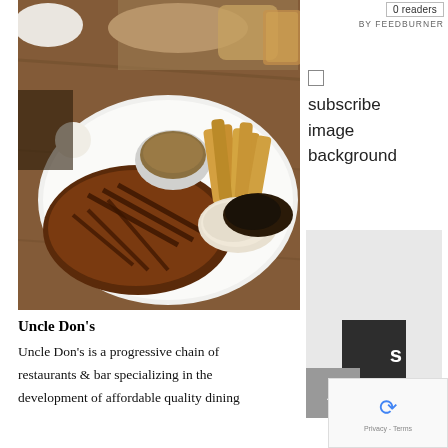[Figure (photo): A grilled steak on a white plate with thick-cut fries, a small bowl of gravy/sauce, coleslaw, and dark leafy garnish. Background shows chicken wings and a glass of amber drink on a wooden table.]
Uncle Don's
Uncle Don's is a progressive chain of restaurants & bar specializing in the development of affordable quality dining
[Figure (other): Sidebar UI elements: FeedBurner 0 readers badge, subscribe checkbox with labels 'subscribe', 'image', 'background', a partial logo image with dark block and letter 's', a gray scroll-to-top button, and a reCAPTCHA widget with Privacy - Terms link.]